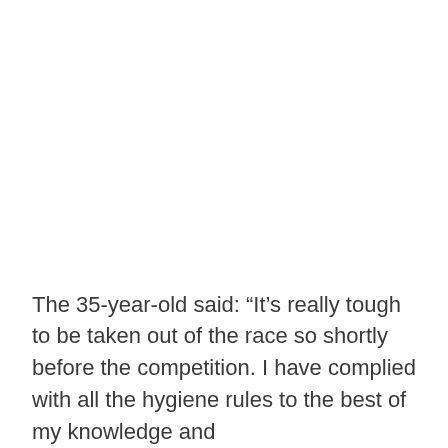The 35-year-old said: “It’s really tough to be taken out of the race so shortly before the competition. I have complied with all the hygiene rules to the best of my knowledge and